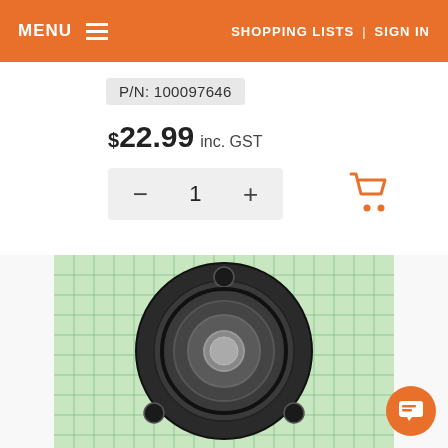MENU   SHOPPING LISTS | SIGN IN
P/N: 100097646
$22.99 inc. GST
- 1 +
[Figure (photo): A circular metal flange/bearing part with a central hole and mounting holes, photographed on a green grid background.]